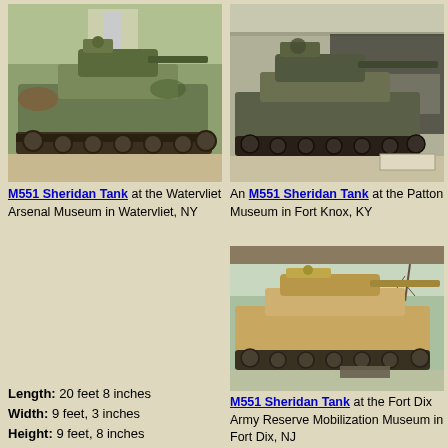[Figure (photo): M551 Sheridan Tank at the Watervliet Arsenal Museum, outdoor display, camouflage paint, side view]
M551 Sheridan Tank at the Watervliet Arsenal Museum in Watervliet, NY
[Figure (photo): An M551 Sheridan Tank at the Patton Museum in Fort Knox, KY, indoor display]
An M551 Sheridan Tank at the Patton Museum in Fort Knox, KY
[Figure (photo): M551 Sheridan Tank at the Fort Dix Army Reserve Mobilization Museum in Fort Dix, NJ, tan/desert paint, outdoor display]
M551 Sheridan Tank at the Fort Dix Army Reserve Mobilization Museum in Fort Dix, NJ
Length: 20 feet 8 inches
Width: 9 feet, 3 inches
Height: 9 feet, 8 inches